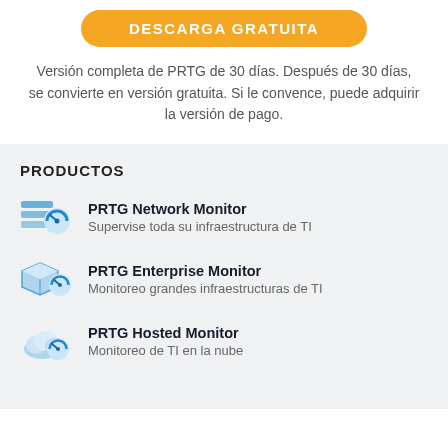[Figure (screenshot): Orange rounded button with white uppercase text 'DESCARGA GRATUITA']
Versión completa de PRTG de 30 días. Después de 30 días, se convierte en versión gratuita. Si le convence, puede adquirir la versión de pago.
PRODUCTOS
PRTG Network Monitor – Supervise toda su infraestructura de TI
PRTG Enterprise Monitor – Monitoreo grandes infraestructuras de TI
PRTG Hosted Monitor – Monitoreo de TI en la nube